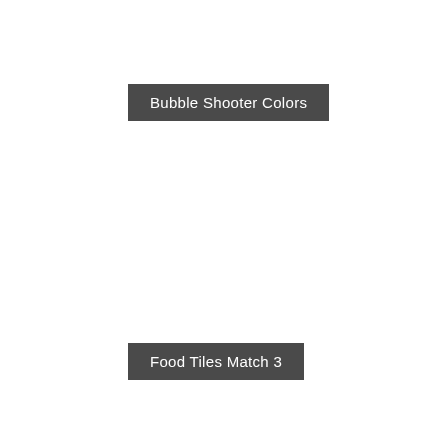Bubble Shooter Colors
Food Tiles Match 3